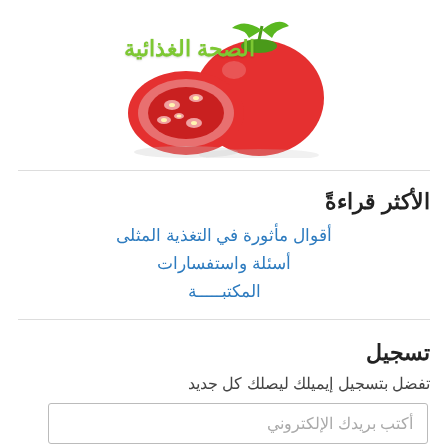[Figure (illustration): Image of tomatoes (a whole tomato and a sliced tomato half) with Arabic text overlay reading 'الصحة الغذائية' in green]
الأكثر قراءةً
أقوال مأثورة في التغذية المثلى
أسئلة واستفسارات
المكتبـــــة
تسجيل
تفضل بتسجيل إيميلك ليصلك كل جديد
أكتب بريدك الإلكتروني